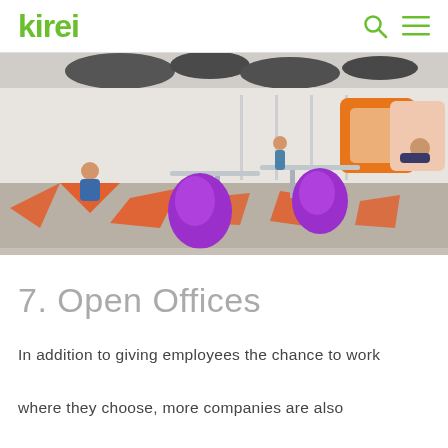kirei
[Figure (photo): Modern open office space with colorful carpet tiles in orange, red, and grey geometric patterns, purple pod chairs, grey tables, and people working. Orange and patterned wall alcoves visible in the background.]
7. Open Offices
In addition to giving employees the chance to work where they choose, more companies are also